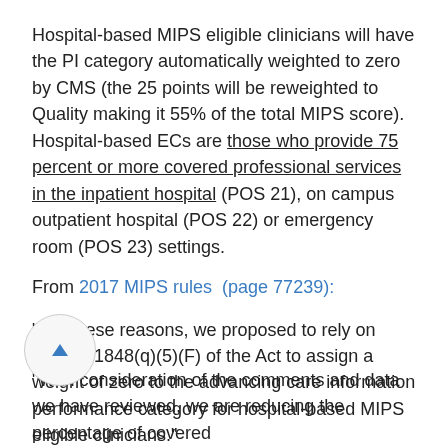Hospital-based MIPS eligible clinicians will have the PI category automatically weighted to zero by CMS (the 25 points will be reweighted to Quality making it 55% of the total MIPS score). Hospital-based ECs are those who provide 75 percent or more covered professional services in the inpatient hospital (POS 21), on campus outpatient hospital (POS 22) or emergency room (POS 23) settings.
From 2017 MIPS rules (page 77239):
"For these reasons, we proposed to rely on section 1848(q)(5)(F) of the Act to assign a weight of zero to the advancing care information performance category for hospital-based MIPS eligible clinicians."
"With consideration of the comments and data we have reviewed, we are reducing the percentage of covered